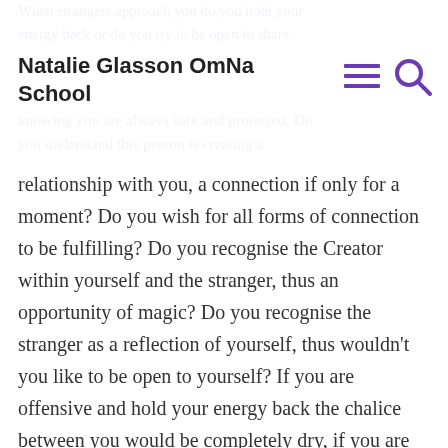Natalie Glasson OmNa School
relationship with you, a connection if only for a moment? Do you wish for all forms of connection to be fulfilling? Do you recognise the Creator within yourself and the stranger, thus an opportunity of magic? Do you recognise the stranger as a reflection of yourself, thus wouldn’t you like to be open to yourself? If you are offensive and hold your energy back the chalice between you would be completely dry, if you are open to share, give and receive then the chalice will fill and maybe even overflow from just a simple moments conversation. Although you may not meet the person again the chalice of energy will almost be like a battery of energy for you and the